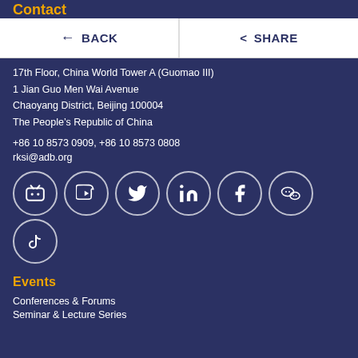BACK | SHARE
17th Floor, China World Tower A (Guomao III)
1 Jian Guo Men Wai Avenue
Chaoyang District, Beijing 100004
The People's Republic of China
+86 10 8573 0909, +86 10 8573 0808
rksi@adb.org
[Figure (infographic): Row of 6 social media icon circles: Bilibili, YouTube, Twitter, LinkedIn, Facebook, WeChat; and a second row with TikTok icon circle]
Events
Conferences & Forums
Seminar & Lecture Series